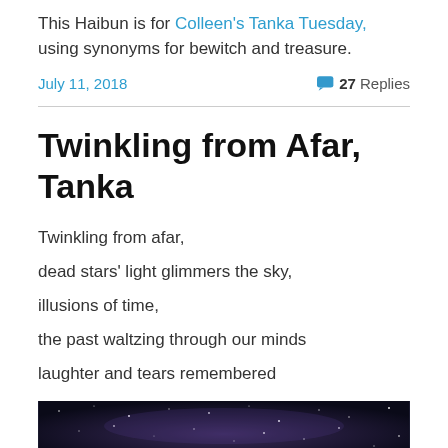This Haibun is for Colleen's Tanka Tuesday, using synonyms for bewitch and treasure.
July 11, 2018   💬 27 Replies
Twinkling from Afar, Tanka
Twinkling from afar,
dead stars' light glimmers the sky,
illusions of time,
the past waltzing through our minds
laughter and tears remembered
[Figure (photo): Night sky with stars, dark blue/purple tones, partial view at bottom of page]